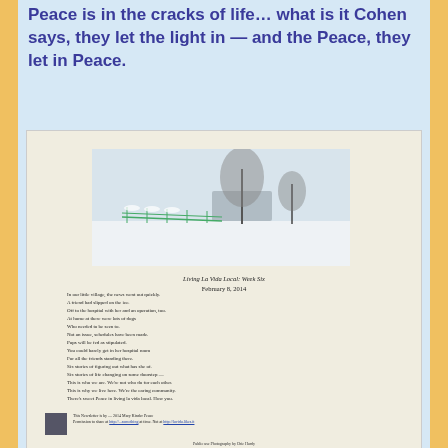Peace is in the cracks of life… what is it Cohen says, they let the light in — and the Peace, they let in Peace.
[Figure (photo): Embedded blog post card showing a winter snow scene photo at top, followed by poem text 'Living La Vida Local: Week Six, February 8, 2014' with poem lines about community and peace, and an author photo with attribution.]